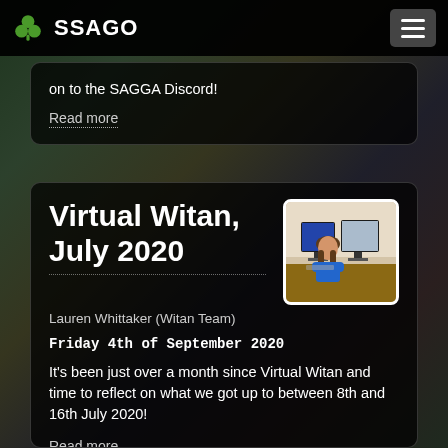SSAGO
on to the SAGGA Discord!
Read more
Virtual Witan, July 2020
[Figure (photo): Person sitting at a desk working on a computer with dual monitors]
Lauren Whittaker (Witan Team)
Friday 4th of September 2020
It's been just over a month since Virtual Witan and time to reflect on what we got up to between 8th and 16th July 2020!
Read more